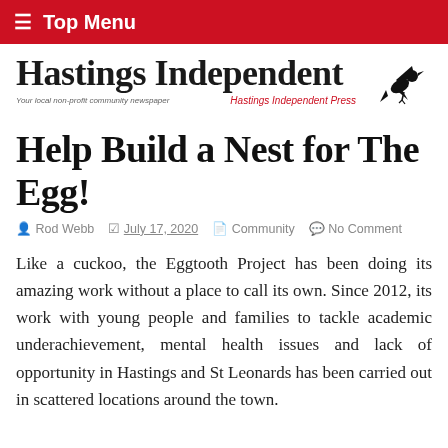≡ Top Menu
[Figure (logo): Hastings Independent newspaper logo with bird silhouette and tagline 'Your local non-profit community newspaper' and 'Hastings Independent Press']
Help Build a Nest for The Egg!
Rod Webb   July 17, 2020   Community   No Comment
Like a cuckoo, the Eggtooth Project has been doing its amazing work without a place to call its own. Since 2012, its work with young people and families to tackle academic underachievement, mental health issues and lack of opportunity in Hastings and St Leonards has been carried out in scattered locations around the town.